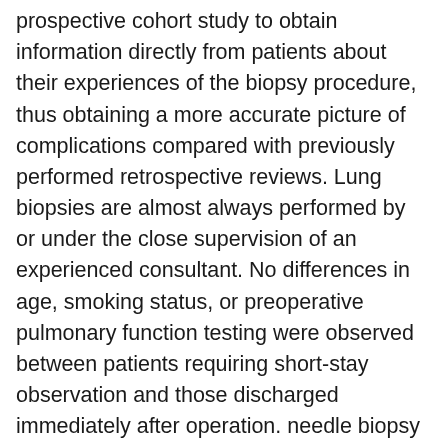prospective cohort study to obtain information directly from patients about their experiences of the biopsy procedure, thus obtaining a more accurate picture of complications compared with previously performed retrospective reviews. Lung biopsies are almost always performed by or under the close supervision of an experienced consultant. No differences in age, smoking status, or preoperative pulmonary function testing were observed between patients requiring short-stay observation and those discharged immediately after operation. needle biopsy of lung lesions – 2-year experience at the Institute of Radiology in Ljubljana Igor Kocijančič and Ksenija Kocijančič Institute of Radiology, University Clinical Centre Ljubljana, Ljubljana, Slovenia Background. Both procedures traditionally have required hospital admission. The cancer has spread to my lymph nodes. October 26th, 2017 • Mavis Mensah* 1, Cristina Borzi* 1, Carlo Verri 1, Paola Sustoni 2, Davide Conte 1,